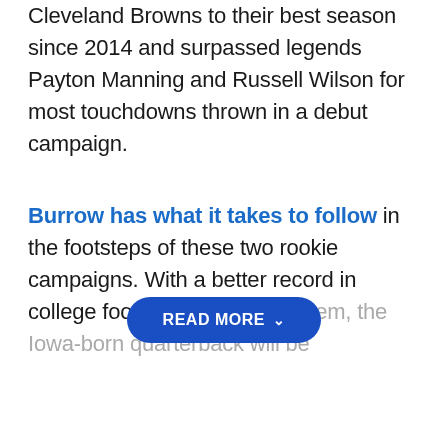Cleveland Browns to their best season since 2014 and surpassed legends Payton Manning and Russell Wilson for most touchdowns thrown in a debut campaign.
Burrow has what it takes to follow in the footsteps of these two rookie campaigns. With a better record in college football than both of them, the Iowa-born quarterback will be
READ MORE